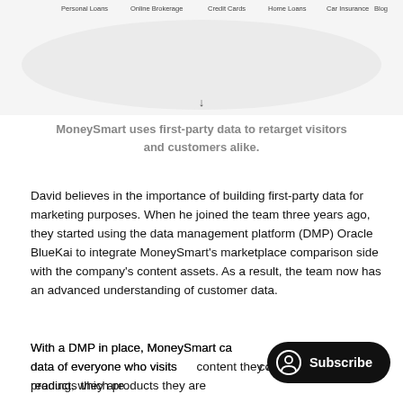[Figure (screenshot): Top portion of MoneySmart website navigation bar showing: Personal Loans, Online Brokerage, Credit Cards, Home Loans, Car Insurance, Blog. Below nav is an ellipse/oval shape with a down arrow at the bottom.]
MoneySmart uses first-party data to retarget visitors and customers alike.
David believes in the importance of building first-party data for marketing purposes. When he joined the team three years ago, they started using the data management platform (DMP) Oracle BlueKai to integrate MoneySmart's marketplace comparison side with the company's content assets. As a result, the team now has an advanced understanding of customer data.
With a DMP in place, MoneySmart can... behavioral data of everyone who visits... content they are reading, which products they are